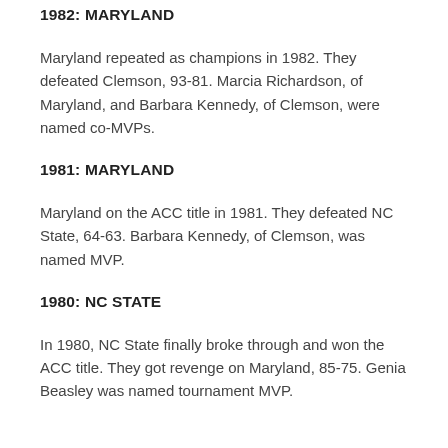1982: MARYLAND
Maryland repeated as champions in 1982. They defeated Clemson, 93-81. Marcia Richardson, of Maryland, and Barbara Kennedy, of Clemson, were named co-MVPs.
1981: MARYLAND
Maryland on the ACC title in 1981. They defeated NC State, 64-63. Barbara Kennedy, of Clemson, was named MVP.
1980: NC STATE
In 1980, NC State finally broke through and won the ACC title. They got revenge on Maryland, 85-75. Genia Beasley was named tournament MVP.